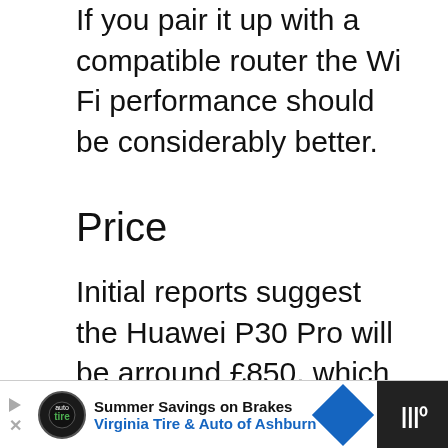If you pair it up with a compatible router the Wi Fi performance should be considerably better.
Price
Initial reports suggest the Huawei P30 Pro will be arround £850, which if true will be in the middle ground of two Samsung models.
It is likely the P30 Pro will have a pre-order bonus, so if you want a phone soon and you are torn between the
[Figure (infographic): Blue circular heart/like button with count 13 and blue share button]
[Figure (infographic): Advertisement banner: Summer Savings on Brakes, Virginia Tire & Auto of Ashburn, with logo and blue arrow]